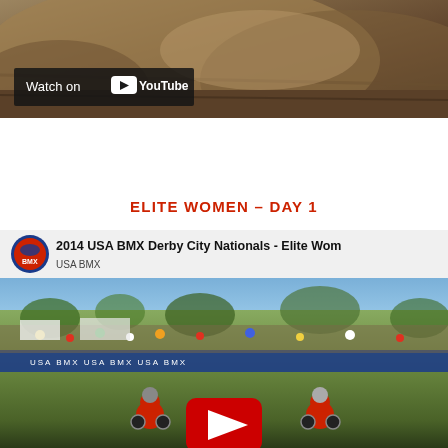[Figure (screenshot): Top portion of a YouTube video embed showing a BMX dirt track with brown dirt mounds, partially cut off at top. A 'Watch on YouTube' button overlay is visible in the lower-left of the video.]
ELITE WOMEN – DAY 1
[Figure (screenshot): YouTube video thumbnail/embed showing '2014 USA BMX Derby City Nationals - Elite Women' with USA BMX logo, crowd of spectators, BMX racers at start, and a YouTube play button overlay.]